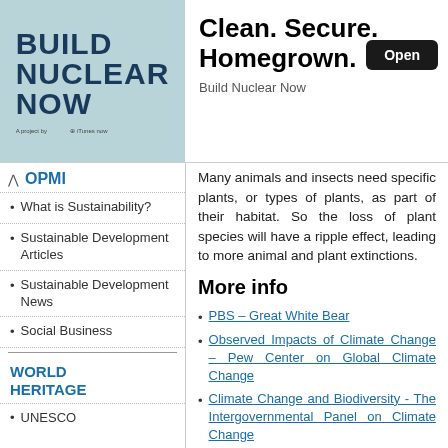[Figure (other): Advertisement banner for 'Build Nuclear Now' app showing logo image with teal background and text 'Clean. Secure. Homegrown.' with an Open button]
Many animals and insects need specific plants, or types of plants, as part of their habitat. So the loss of plant species will have a ripple effect, leading to more animal and plant extinctions.
More info
PBS – Great White Bear
Observed Impacts of Climate Change – Pew Center on Global Climate Change
Climate Change and Biodiversity - The Intergovernmental Panel on Climate Change
What is Sustainability?
Sustainable Development Articles
Sustainable Development News
Social Business
WORLD HERITAGE
UNESCO
Learn more about: